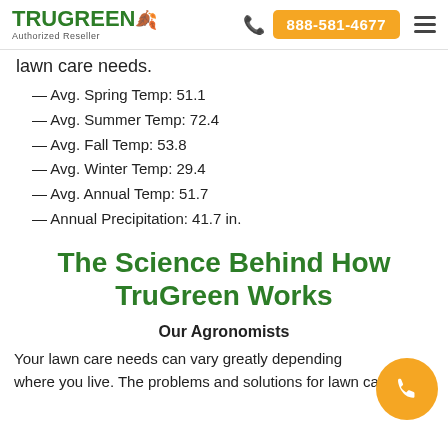TruGreen Authorized Reseller | 888-581-4677
lawn care needs.
— Avg. Spring Temp: 51.1
— Avg. Summer Temp: 72.4
— Avg. Fall Temp: 53.8
— Avg. Winter Temp: 29.4
— Avg. Annual Temp: 51.7
— Annual Precipitation: 41.7 in.
The Science Behind How TruGreen Works
Our Agronomists
Your lawn care needs can vary greatly depending where you live. The problems and solutions for lawn care